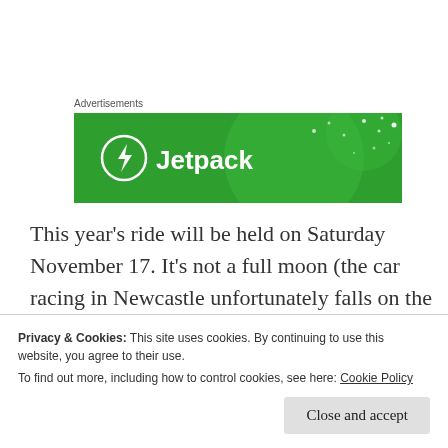Advertisements
[Figure (logo): Jetpack advertisement banner — green background with Jetpack logo (lightning bolt in circle) and brand name 'Jetpack' in white text]
This year’s ride will be held on Saturday November 17. It’s not a full moon (the car racing in Newcastle unfortunately falls on the full moon weekend and we’re trying to avoid that). So bring good lights.
Privacy & Cookies: This site uses cookies. By continuing to use this website, you agree to their use. To find out more, including how to control cookies, see here: Cookie Policy
Close and accept